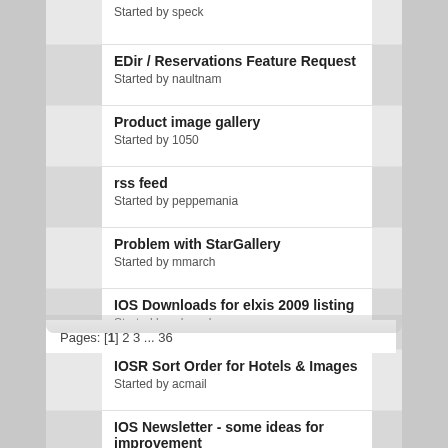Started by speck
EDir / Reservations Feature Request
Started by naultnam
Product image gallery
Started by 1050
rss feed
Started by peppemania
Problem with StarGallery
Started by mmarch
IOS Downloads for elxis 2009 listing
Started by wbread
IOSR Sort Order for Hotels & Images
Started by acmail
IOS Newsletter - some ideas for improvement
Started by jancikt
Like to ad functionality to eblogg
Started by Cristian Herrera
Pages: [1] 2 3 ... 36